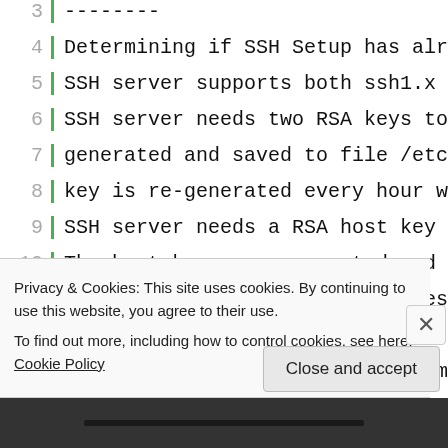3  --------
4  Determining if SSH Setup has already
5  SSH server supports both ssh1.x and s
6  SSH server needs two RSA keys to supp
7  generated and saved to file /etc/sshd
8  key is re-generated every hour when S
9  SSH server needs a RSA host key and a
10  The host keys are generated and saved
11  /etc/sshd/ssh_host_dsa_key files resp
12  SSH Setup will now ask you for the si
13  For ssh1.0 protocol, key sizes must b
14  For ssh2.0 protocol, key sizes must b
15  The size of the host and server keys
16  Please enter the size of host key for
17  Please enter the size of server key f
18  Please enter the size of host keys fo
19  You have specified these parameters:
Privacy & Cookies: This site uses cookies. By continuing to use this website, you agree to their use.
To find out more, including how to control cookies, see here: Cookie Policy